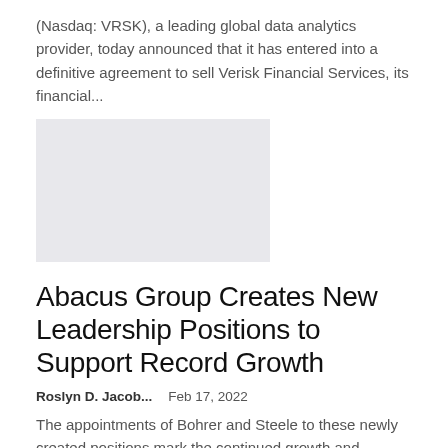(Nasdaq: VRSK), a leading global data analytics provider, today announced that it has entered into a definitive agreement to sell Verisk Financial Services, its financial...
[Figure (photo): Placeholder image block (light gray rectangle)]
Abacus Group Creates New Leadership Positions to Support Record Growth
Roslyn D. Jacob...   Feb 17, 2022
The appointments of Bohrer and Steele to these newly created positions mark the continued growth and development of Abacus.